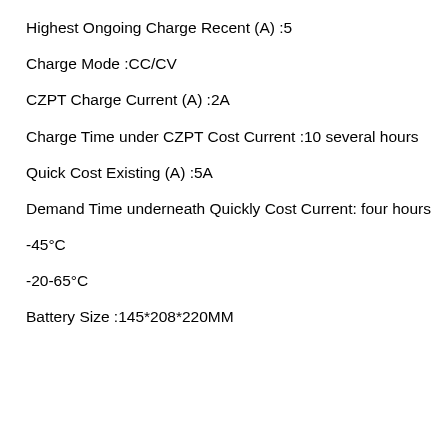Optimum Ongoing Discharge Current (A) :30A
Highest Ongoing Charge Recent (A) :5
Charge Mode :CC/CV
CZPT Charge Current (A) :2A
Charge Time under CZPT Cost Current :10 several hours
Quick Cost Existing (A) :5A
Demand Time underneath Quickly Cost Current: four hours
-45°C
-20-65°C
Battery Size :145*208*220MM